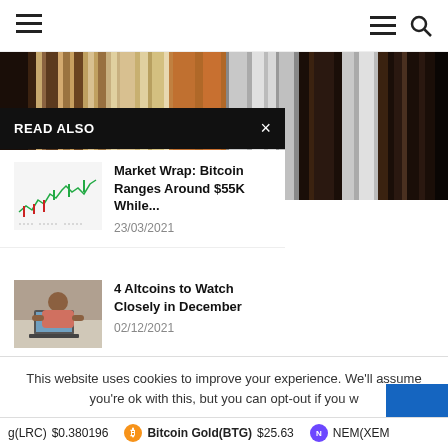≡  ≡ 🔍
[Figure (screenshot): Vertical color stripes in shades of brown, tan, gray, black and gold forming a decorative background image]
READ ALSO
[Figure (line-chart): Small candlestick/line chart thumbnail showing Bitcoin price movement with red and green candles]
Market Wrap: Bitcoin Ranges Around $55K While...
23/03/2021
[Figure (photo): Person sitting at laptop computer]
4 Altcoins to Watch Closely in December
02/12/2021
This website uses cookies to improve your experience. We'll assume you're ok with this, but you can opt-out if you w
g(LRC) $0.380196   Bitcoin Gold(BTG) $25.63   NEM(XEM